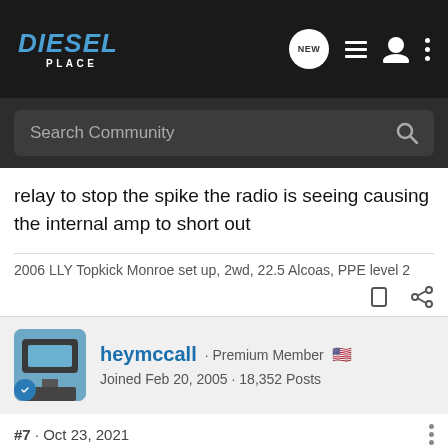DIESEL PLACE
relay to stop the spike the radio is seeing causing the internal amp to short out
2006 LLY Topkick Monroe set up, 2wd, 22.5 Alcoas, PPE level 2
heymccall · Premium Member · Joined Feb 20, 2005 · 18,352 Posts
#7 · Oct 23, 2021
Diodes don't go inline, they goes across the relay coil.